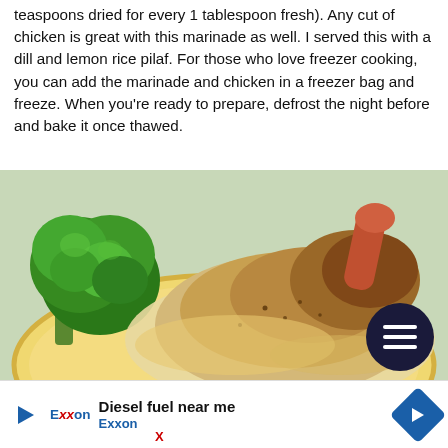teaspoons dried for every 1 tablespoon fresh). Any cut of chicken is great with this marinade as well. I served this with a dill and lemon rice pilaf. For those who love freezer cooking, you can add the marinade and chicken in a freezer bag and freeze. When you're ready to prepare, defrost the night before and bake it once thawed.
[Figure (photo): A photo of cooked chicken on a yellow plate with broccoli, served with a creamy sauce. A dark navy circular menu button overlay appears in the bottom right of the image.]
Diesel fuel near me
Exxon